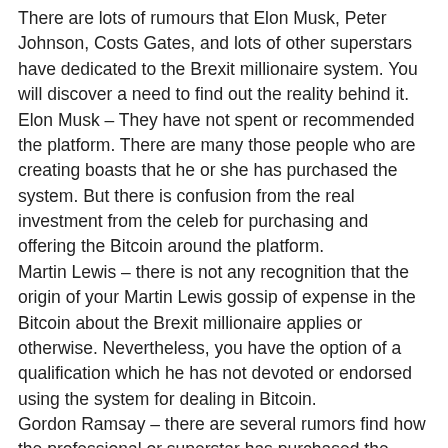There are lots of rumours that Elon Musk, Peter Johnson, Costs Gates, and lots of other superstars have dedicated to the Brexit millionaire system. You will discover a need to find out the reality behind it. Elon Musk – They have not spent or recommended the platform. There are many those people who are creating boasts that he or she has purchased the system. But there is confusion from the real investment from the celeb for purchasing and offering the Bitcoin around the platform. Martin Lewis – there is not any recognition that the origin of your Martin Lewis gossip of expense in the Bitcoin about the Brexit millionaire applies or otherwise. Nevertheless, you have the option of a qualification which he has not devoted or endorsed using the system for dealing in Bitcoin. Gordon Ramsay – there are several rumors find how the professional or superstar has purchased the Brexit millionaire. However the rumours are not good. So you will